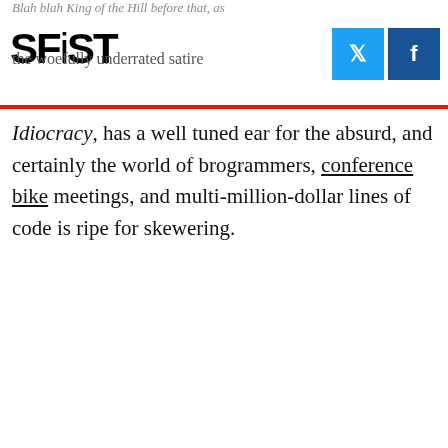SFiST
Idiocracy, has a well tuned ear for the absurd, and certainly the world of brogrammers, conference bike meetings, and multi-million-dollar lines of code is ripe for skewering.